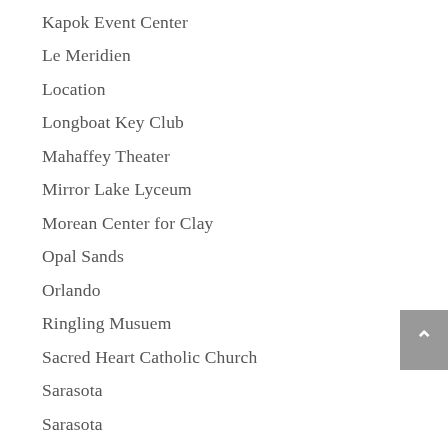Hyde Park
Kapok Event Center
Le Meridien
Location
Longboat Key Club
Mahaffey Theater
Mirror Lake Lyceum
Morean Center for Clay
Opal Sands
Orlando
Ringling Musuem
Sacred Heart Catholic Church
Sarasota
Sarasota